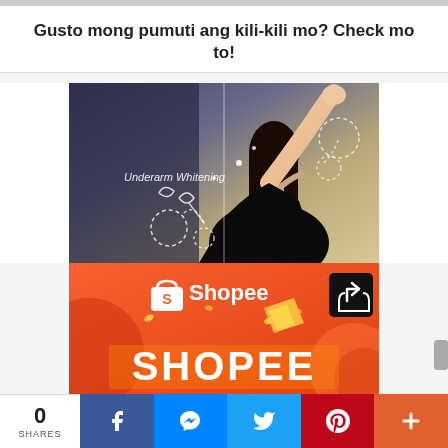Gusto mong pumuti ang kili-kili mo? Check mo to!
[Figure (photo): Video thumbnail showing a woman in a black top raising her arm, with text overlay 'Underarm Whitening' and decorative doodle arrows]
[Figure (logo): Shopee advertisement banner with orange background, Shopee logo with shopping bag icon, share button, and large white 'SHOPEE' text on orange banner]
0 SHARES | Facebook | Messenger | Twitter | Pinterest | More